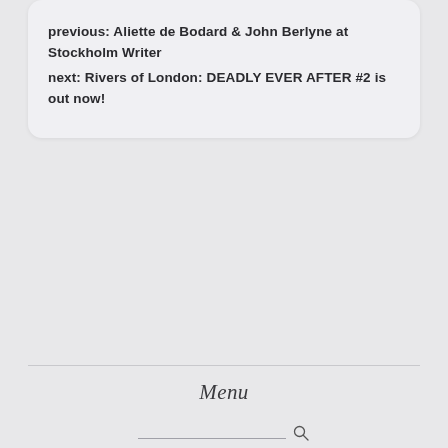previous: Aliette de Bodard & John Berlyne at Stockholm Writer
next: Rivers of London: DEADLY EVER AFTER #2 is out now!
Menu
[Figure (other): Search input field with magnifying glass icon]
website by CMD &